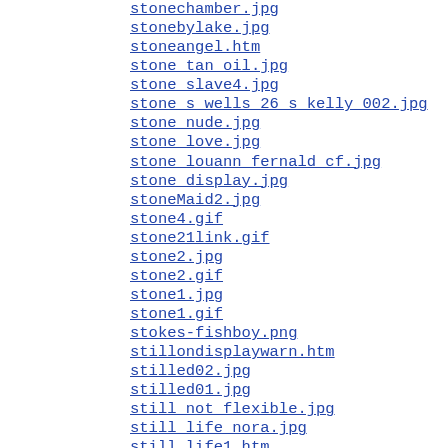stonechamber.jpg
stonebylake.jpg
stoneangel.htm
stone_tan_oil.jpg
stone_slave4.jpg
stone_s_wells_26_s_kelly_002.jpg
stone_nude.jpg
stone_love.jpg
stone_louann_fernald_cf.jpg
stone_display.jpg
stoneMaid2.jpg
stone4.gif
stone21link.gif
stone2.jpg
stone2.gif
stone1.jpg
stone1.gif
stokes-fishboy.png
stillondisplaywarn.htm
stilled02.jpg
stilled01.jpg
still_not_flexible.jpg
still_life_nora.jpg
still_life1.htm
still_life.jpg
stiff_drink.jpg
stevecurse.jpg
steve.html
stethos_vice04.jpg
stethos_vice02.jpg